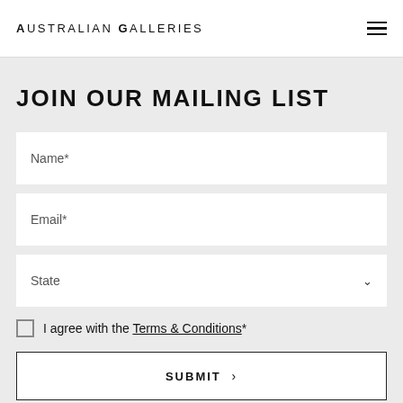Australian Galleries
JOIN OUR MAILING LIST
Name*
Email*
State
I agree with the Terms & Conditions*
SUBMIT >